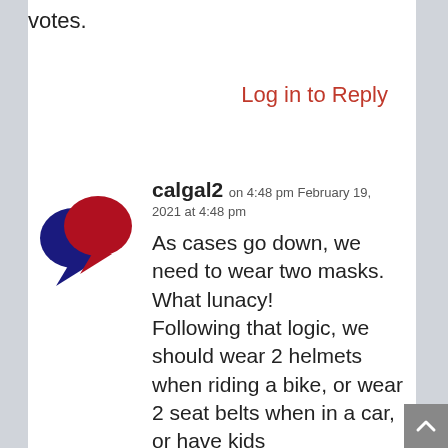votes.
Log in to Reply
[Figure (illustration): Two overlapping speech bubble icons, one dark blue/navy and one dark red/crimson, forming a comment/discussion logo.]
calgal2 on 4:48 pm February 19, 2021 at 4:48 pm
As cases go down, we need to wear two masks. What lunacy! Following that logic, we should wear 2 helmets when riding a bike, or wear 2 seat belts when in a car, or have kids